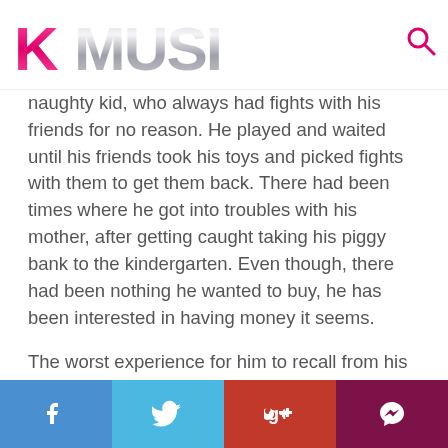KMUSIC
naughty kid, who always had fights with his friends for no reason. He played and waited until his friends took his toys and picked fights with them to get them back. There had been times where he got into troubles with his mother, after getting caught taking his piggy bank to the kindergarten. Even though, there had been nothing he wanted to buy, he has been interested in having money it seems.
The worst experience for him to recall from his small days is, the experience of being lost. When he visited his relatives in America with his parents, he got lost. But his parents found him because he was staying still where he was. Our poor baby Jong-up must have been really scared.
f  t  g+  chat